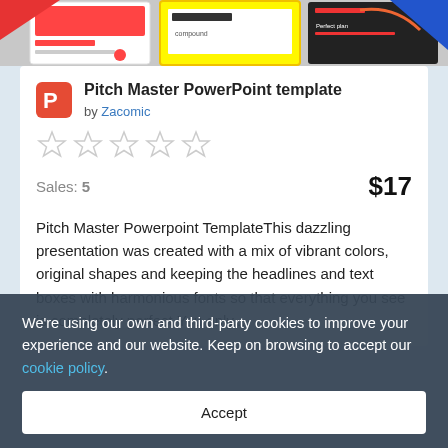[Figure (screenshot): Top banner showing colorful PowerPoint presentation slides with red, yellow, black shapes and text including 'compound' and 'Perfect plan']
Pitch Master PowerPoint template
by Zacomic
[Figure (other): Five empty star rating icons (no fill)]
Sales: 5
$17
Pitch Master Powerpoint TemplateThis dazzling presentation was created with a mix of vibrant colors, original shapes and keeping the headlines and text boxes with harmonious fonts so that everything you see is completely perfect.You only...
We're using our own and third-party cookies to improve your experience and our website. Keep on browsing to accept our cookie policy.
Accept